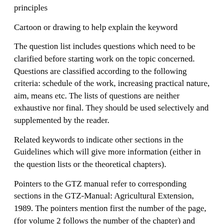principles
Cartoon or drawing to help explain the keyword
The question list includes questions which need to be clarified before starting work on the topic concerned. Questions are classified according to the following criteria: schedule of the work, increasing practical nature, aim, means etc. The lists of questions are neither exhaustive nor final. They should be used selectively and supplemented by the reader.
Related keywords to indicate other sections in the Guidelines which will give more information (either in the question lists or the theoretical chapters).
Pointers to the GTZ manual refer to corresponding sections in the GTZ-Manual: Agricultural Extension, 1989. The pointers mention first the number of the page, (for volume 2 follows the number of the chapter) and then a short title of the chapter or secton.. Chapter 1